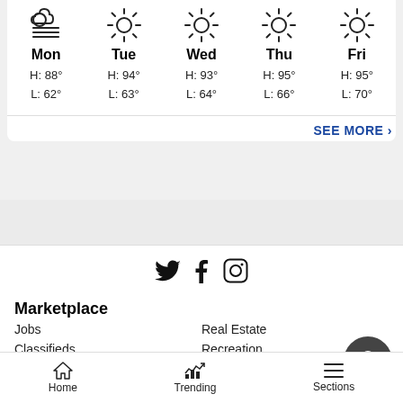[Figure (infographic): 5-day weather forecast widget showing Mon through Fri with weather icons, high and low temperatures. Mon: fog icon, H:88° L:62°; Tue: sun icon, H:94° L:63°; Wed: sun icon, H:93° L:64°; Thu: sun icon, H:95° L:66°; Fri: sun icon, H:95° L:70°]
SEE MORE ›
[Figure (infographic): Social media icons: Twitter bird, Facebook f, Instagram camera outline]
Marketplace
Jobs
Real Estate
Classifieds
Recreation
Livestock & Animals
Service Directory
Home | Trending | Sections